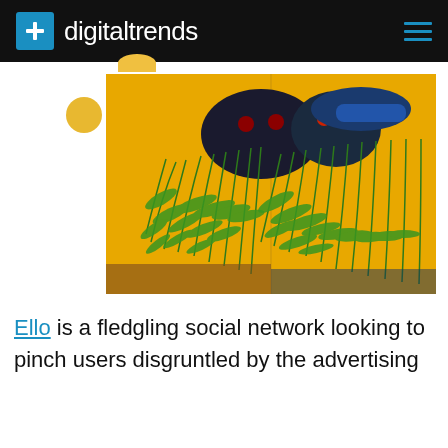digitaltrends
[Figure (photo): Photo of a decorative animal sculpture with lush green hanging fern plants, against a bright yellow background, with blue sneakers visible]
Ello is a fledgling social network looking to pinch users disgruntled by the advertising